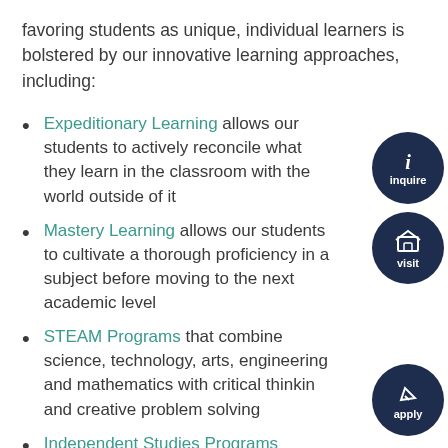favoring students as unique, individual learners is bolstered by our innovative learning approaches, including:
Expeditionary Learning allows our students to actively reconcile what they learn in the classroom with the world outside of it
Mastery Learning allows our students to cultivate a thorough proficiency in a subject before moving to the next academic level
STEAM Programs that combine science, technology, arts, engineering and mathematics with critical thinking and creative problem solving
Independent Studies Programs including online, hybrid, tutored, and...